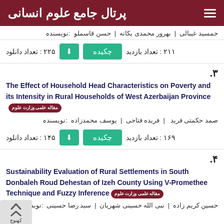پرتال جامع علوم انسانی
نویسنده: جمسید غیبالی | بهرور محمدی یکانه | حسن قاسملو
تعداد دانلود: ۲۲۵  چکیده  تعداد بازدید: ۲۱۱
۳.
The Effect of Household Head Characteristics on Poverty and its Intensity in Rural Households of West Azerbaijan Province
نویسنده: صمد حکمتی فرید | فریده فتاحی | یوسف محمدزاده
تعداد دانلود: ۱۴۵  چکیده  تعداد بازدید: ۱۶۹
۴.
Sustainability Evaluation of Rural Settlements in South Donbaleh Roud Dehestan of Izeh County Using V-Promethee Technique and Fuzzy Inference
نویسنده: حسین کریم زاده | نبی الله حسینی شهریان | سید رضا حسینی | کهنوج